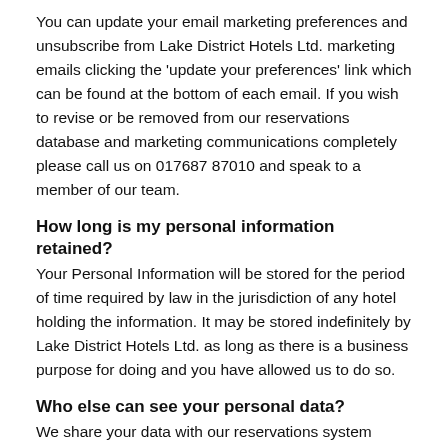You can update your email marketing preferences and unsubscribe from Lake District Hotels Ltd. marketing emails clicking the 'update your preferences' link which can be found at the bottom of each email. If you wish to revise or be removed from our reservations database and marketing communications completely please call us on 017687 87010 and speak to a member of our team.
How long is my personal information retained?
Your Personal Information will be stored for the period of time required by law in the jurisdiction of any hotel holding the information. It may be stored indefinitely by Lake District Hotels Ltd. as long as there is a business purpose for doing and you have allowed us to do so.
Who else can see your personal data?
We share your data with our reservations system provider, our email marketing provider and the mailing house we use for direct mail marketing. The reservations